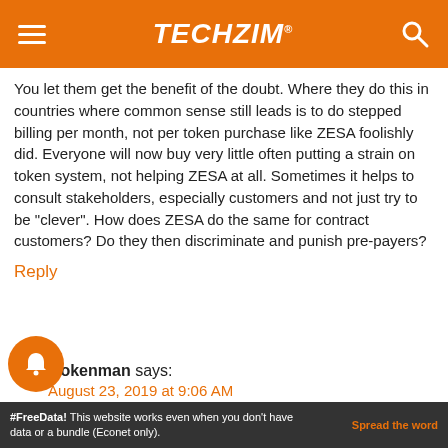TECHZiM
You let them get the benefit of the doubt. Where they do this in countries where common sense still leads is to do stepped billing per month, not per token purchase like ZESA foolishly did. Everyone will now buy very little often putting a strain on token system, not helping ZESA at all. Sometimes it helps to consult stakeholders, especially customers and not just try to be “clever”. How does ZESA do the same for contract customers? Do they then discriminate and punish pre-payers?
Reply
wokenman says:
August 23, 2019 at 9:06 AM
#FreeData! This website works even when you don't have data or a bundle (Econet only). Spread the word